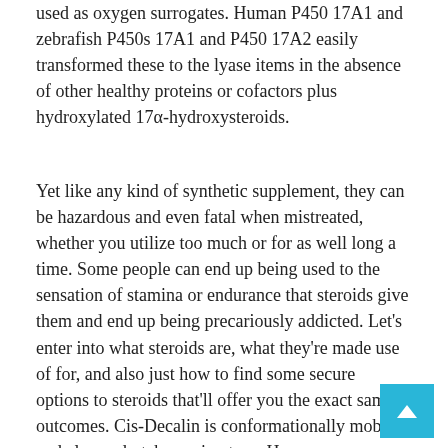used as oxygen surrogates. Human P450 17A1 and zebrafish P450s 17A1 and P450 17A2 easily transformed these to the lyase items in the absence of other healthy proteins or cofactors plus hydroxylated 17α-hydroxysteroids.
Yet like any kind of synthetic supplement, they can be hazardous and even fatal when mistreated, whether you utilize too much or for as well long a time. Some people can end up being used to the sensation of stamina or endurance that steroids give them and end up being precariously addicted. Let's enter into what steroids are, what they're made use of for, and also just how to find some secure options to steroids that'll offer you the exact same outcomes. Cis-Decalin is conformationally mobile and also undertakes a ring turn. However, a comparable process is not possible in steroids where the A/B junction is cis.